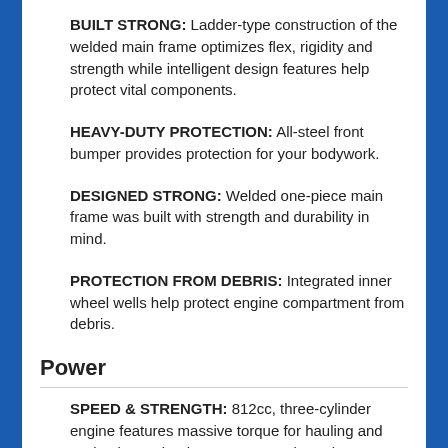BUILT STRONG: Ladder-type construction of the welded main frame optimizes flex, rigidity and strength while intelligent design features help protect vital components.
HEAVY-DUTY PROTECTION: All-steel front bumper provides protection for your bodywork.
DESIGNED STRONG: Welded one-piece main frame was built with strength and durability in mind.
PROTECTION FROM DEBRIS: Integrated inner wheel wells help protect engine compartment from debris.
Power
SPEED & STRENGTH: 812cc, three-cylinder engine features massive torque for hauling and towing heavy loads across rugged terrain.
RELIABLE & CAPABLE: Responsive Continuously Variable Transmission (CVT) produces usable traction and powerful